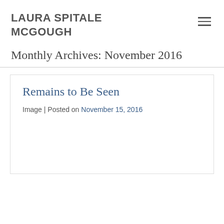LAURA SPITALE MCGOUGH
Monthly Archives: November 2016
Remains to Be Seen
Image | Posted on November 15, 2016